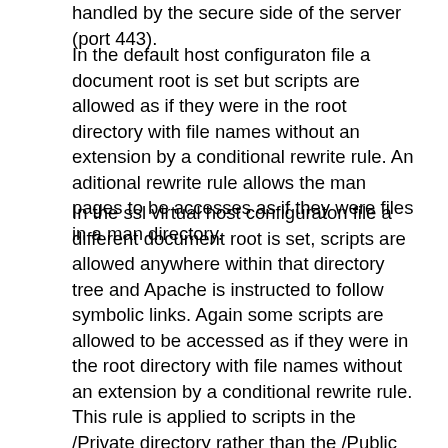handled by the secure side of the server (port 443).
In the default host configuraton file a document root is set but scripts are allowed as if they were in the root directory with file names without an extension by a conditional rewrite rule. An aditional rewrite rule allows the man pages to be accesses as if they were files in a man directory.
In the ssl virtual host configuraton file a different document root is set, scripts are allowed anywhere within that directory tree and Apache is instructed to follow symbolic links. Again some scripts are allowed to be accessed as if they were in the root directory with file names without an extension by a conditional rewrite rule. This rule is applied to scripts in the /Private directory rather than the /Public directory and the Last flag is used so that no other rules are checked when this rule is satisfied. The order of the rules and the Last flag make it so that if a script exists in both the /Public and /Private folders the /Private script will be used if accessed from the secured side of the site. A number of locations including /Private can only be accessed by authenticated users. These locations were previously forced to be handled on the secure port which means the authentication process